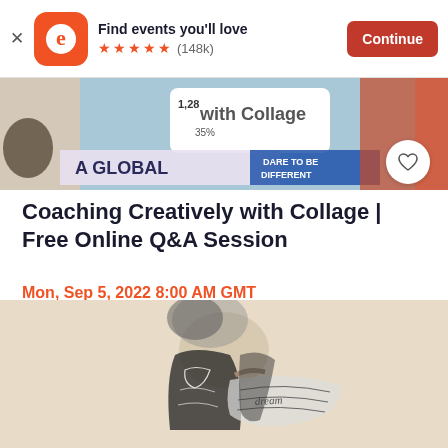Find events you'll love ★★★★★ (148k) Continue
[Figure (screenshot): Eventbrite app banner with logo, find events text, star rating (148k), and orange Continue button]
[Figure (photo): Event promotional image strip showing collage-related content with text 'A GLOBAL' and 'DARE TO BE DIFFERENT']
Coaching Creatively with Collage | Free Online Q&A Session
Mon, Sep 5, 2022 8:00 AM GMT
Free
[Figure (illustration): Black and white sketch/illustration of a figure in decorative clothing, appearing to read or look at something]